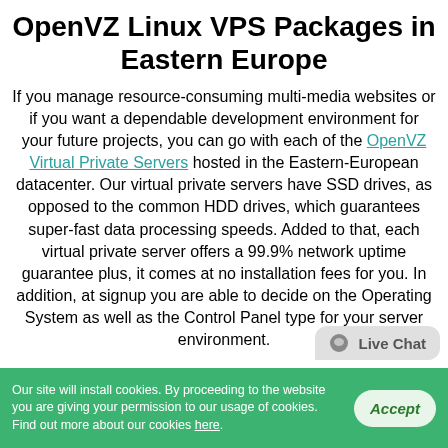OpenVZ Linux VPS Packages in Eastern Europe
If you manage resource-consuming multi-media websites or if you want a dependable development environment for your future projects, you can go with each of the OpenVZ Virtual Private Servers hosted in the Eastern-European datacenter. Our virtual private servers have SSD drives, as opposed to the common HDD drives, which guarantees super-fast data processing speeds. Added to that, each virtual private server offers a 99.9% network uptime guarantee plus, it comes at no installation fees for you. In addition, at signup you are able to decide on the Operating System as well as the Control Panel type for your server environment.
[Figure (other): Live Chat bubble overlay in bottom-right area]
Our site will install cookies. By proceeding to the website you are giving your permission to our usage of cookies. Find out more about our cookies here.